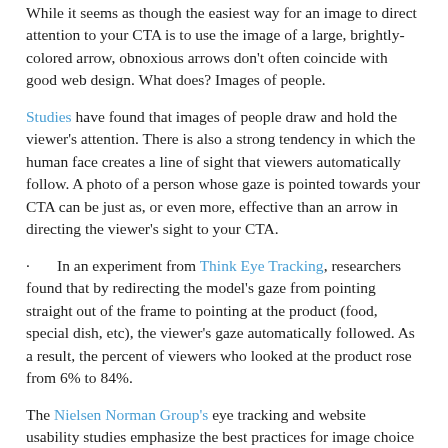While it seems as though the easiest way for an image to direct attention to your CTA is to use the image of a large, brightly-colored arrow, obnoxious arrows don't often coincide with good web design. What does? Images of people.
Studies have found that images of people draw and hold the viewer's attention. There is also a strong tendency in which the human face creates a line of sight that viewers automatically follow. A photo of a person whose gaze is pointed towards your CTA can be just as, or even more, effective than an arrow in directing the viewer's sight to your CTA.
In an experiment from Think Eye Tracking, researchers found that by redirecting the model's gaze from pointing straight out of the frame to pointing at the product (food, special dish, etc), the viewer's gaze automatically followed. As a result, the percent of viewers who looked at the product rose from 6% to 84%.
The Nielsen Norman Group's eye tracking and website usability studies emphasize the best practices for image choice in order to have the most visual impact: use crisp, high-quality pictures as